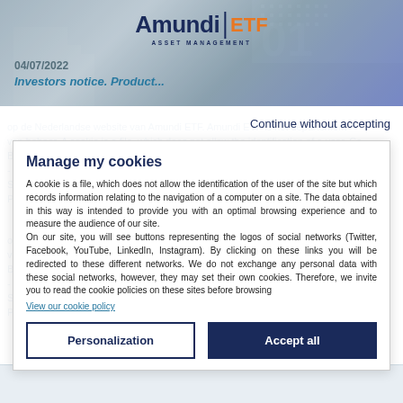[Figure (logo): Amundi ETF Asset Management logo with blue text and orange ETF text]
04/07/2022
Investors notice. Product...
Continue without accepting
Manage my cookies
A cookie is a file, which does not allow the identification of the user of the site but which records information relating to the navigation of a computer on a site. The data obtained in this way is intended to provide you with an optimal browsing experience and to measure the audience of our site.
On our site, you will see buttons representing the logos of social networks (Twitter, Facebook, YouTube, LinkedIn, Instagram). By clicking on these links you will be redirected to these different networks. We do not exchange any personal data with these social networks, however, they may set their own cookies. Therefore, we invite you to read the cookie policies on these sites before browsing
View our cookie policy
Personalization
Accept all
Aanvaardt en begrijpt u de bovenstaande voorwaarden?